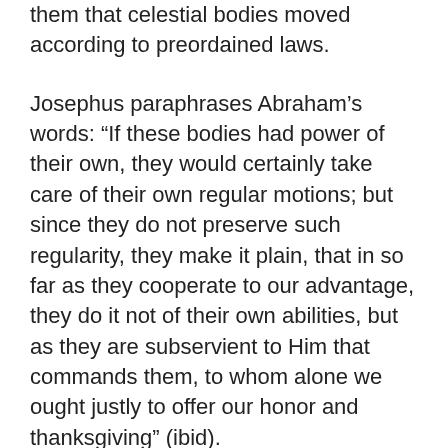them that celestial bodies moved according to preordained laws.
Josephus paraphrases Abraham’s words: “If these bodies had power of their own, they would certainly take care of their own regular motions; but since they do not preserve such regularity, they make it plain, that in so far as they cooperate to our advantage, they do it not of their own abilities, but as they are subservient to Him that commands them, to whom alone we ought justly to offer our honor and thanksgiving” (ibid).
Abraham taught the Chaldeans what the priests secretly knew: The movements of the stars and the observed celestial bodies...